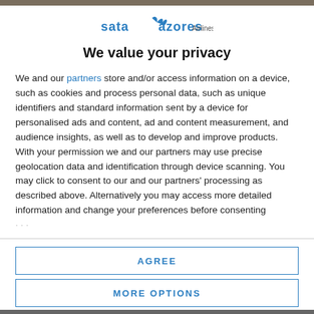[Figure (logo): SATA Azores Airlines logo with blue bird/arrow icon]
We value your privacy
We and our partners store and/or access information on a device, such as cookies and process personal data, such as unique identifiers and standard information sent by a device for personalised ads and content, ad and content measurement, and audience insights, as well as to develop and improve products. With your permission we and our partners may use precise geolocation data and identification through device scanning. You may click to consent to our and our partners' processing as described above. Alternatively you may access more detailed information and change your preferences before consenting
AGREE
MORE OPTIONS